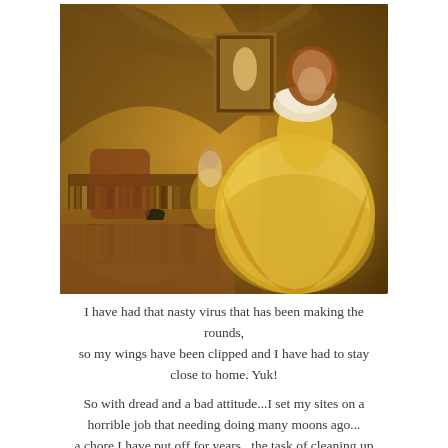[Figure (photo): A girl wearing a large golden yellow ball gown with white ruffled collar, with curly auburn hair, dancing or twirling in a warm, dimly lit room with stone arched ceiling, bookshelves, piano, ornate furniture, and a painting on the wall. A smaller figure in similar dress is visible in the background.]
I have had that nasty virus that has been making the rounds,
so my wings have been clipped and I have had to stay close to home. Yuk!

So with dread and a bad attitude...I set my sites on a horrible job that needing doing many moons ago...
a chore I have put off for years...the task of cleaning up